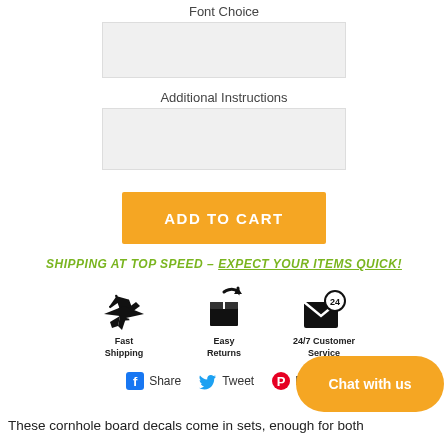Font Choice
Additional Instructions
ADD TO CART
SHIPPING AT TOP SPEED - EXPECT YOUR ITEMS QUICK!
[Figure (infographic): Three icons: airplane (Fast Shipping), box with arrow (Easy Returns), envelope with 24 badge (24/7 Customer Service)]
Share  Tweet  Pin it
Chat with us
These cornhole board decals come in sets, enough for both